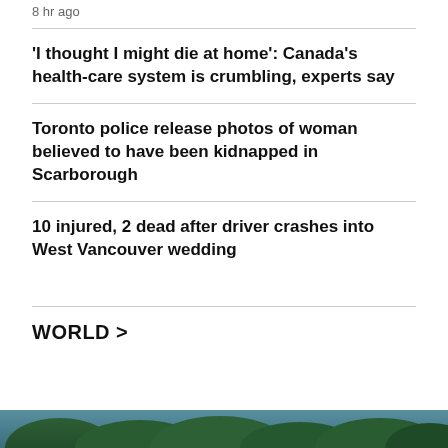8 hr ago
'I thought I might die at home': Canada's health-care system is crumbling, experts say
Toronto police release photos of woman believed to have been kidnapped in Scarborough
10 injured, 2 dead after driver crashes into West Vancouver wedding
WORLD >
[Figure (photo): Partial photo strip at bottom of page showing green foliage/trees]